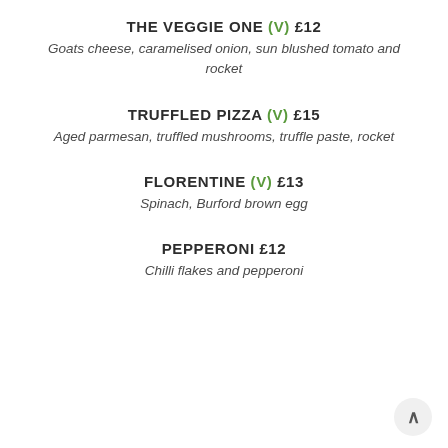THE VEGGIE ONE (V) £12
Goats cheese, caramelised onion, sun blushed tomato and rocket
TRUFFLED PIZZA (V) £15
Aged parmesan, truffled mushrooms, truffle paste, rocket
FLORENTINE (V) £13
Spinach, Burford brown egg
PEPPERONI £12
Chilli flakes and pepperoni